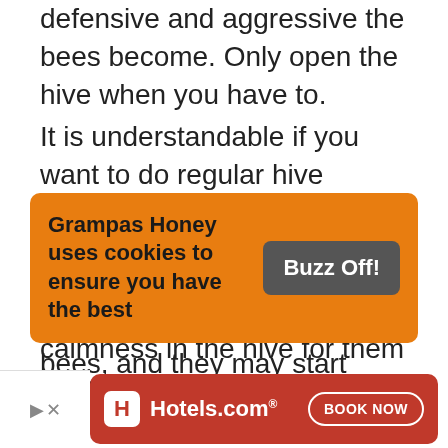defensive and aggressive the bees become. Only open the hive when you have to.
It is understandable if you want to do regular hive inspections. However, be careful not to overdo it. Opening the beehive frequently stresses out the bees, and they may start perceiving you as a threat.
There needs to peace and calmness in the hive for them to make quality honey. The frequent disturbance will affect the quality of the honey and make your honey bees constantly hostile. It's best if you consult an
Grampas Honey uses cookies to ensure you have the best
Buzz Off!
[Figure (screenshot): Hotels.com advertisement banner with red background, Hotels.com logo on left and BOOK NOW button on right]